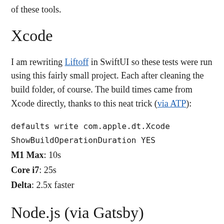of these tools.
Xcode
I am rewriting Liftoff in SwiftUI so these tests were run using this fairly small project. Each after cleaning the build folder, of course. The build times came from Xcode directly, thanks to this neat trick (via ATP):
M1 Max: 10s
Core i7: 25s
Delta: 2.5x faster
Node.js (via Gatsby)